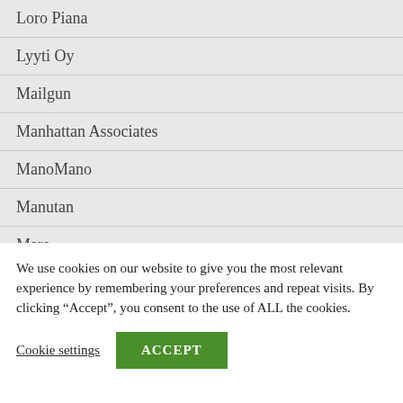Loro Piana
Lyyti Oy
Mailgun
Manhattan Associates
ManoMano
Manutan
Mars
Match Group
Mattel
We use cookies on our website to give you the most relevant experience by remembering your preferences and repeat visits. By clicking “Accept”, you consent to the use of ALL the cookies.
Cookie settings
ACCEPT